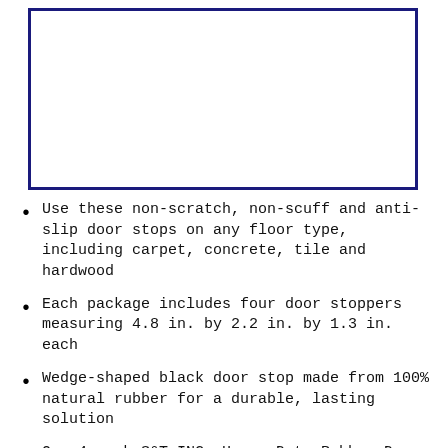[Figure (other): Empty bordered box, likely for product image placeholder]
Use these non-scratch, non-scuff and anti-slip door stops on any floor type, including carpet, concrete, tile and hardwood
Each package includes four door stoppers measuring 4.8 in. by 2.2 in. by 1.3 in. each
Wedge-shaped black door stop made from 100% natural rubber for a durable, lasting solution
One 4 pack S&T INC. Heavy Duty Rubber Door Stopper
Door stops are suitable for residential use